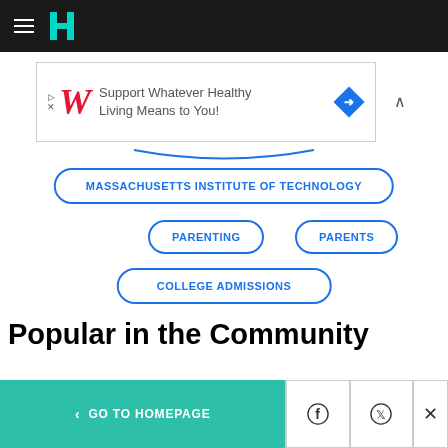HuffPost navigation bar with hamburger menu and logo
[Figure (screenshot): Walgreens ad banner: Support Whatever Healthy Living Means to You!]
MASSACHUSETTS INSTITUTE OF TECHNOLOGY
PARENTING
PARENTS
COLLEGE ADMISSIONS
Popular in the Community
< GO TO HOMEPAGE  [Facebook] [Twitter] [X]